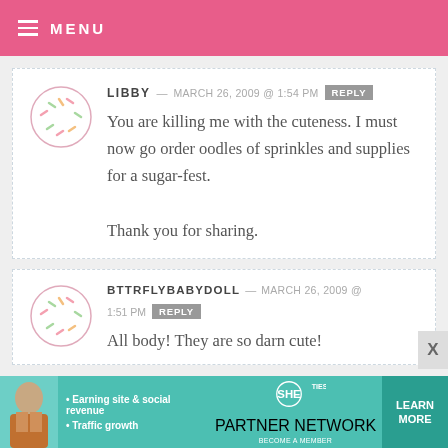MENU
LIBBY — MARCH 26, 2009 @ 1:54 PM REPLY
You are killing me with the cuteness. I must now go order oodles of sprinkles and supplies for a sugar-fest.

Thank you for sharing.
BTTRFLYBABYDOLL — MARCH 26, 2009 @ 1:51 PM REPLY
All body! They are so darn cute!
[Figure (infographic): Advertisement banner: SHE Partner Network - Earning site & social revenue, Traffic growth - LEARN MORE - BECOME A MEMBER]